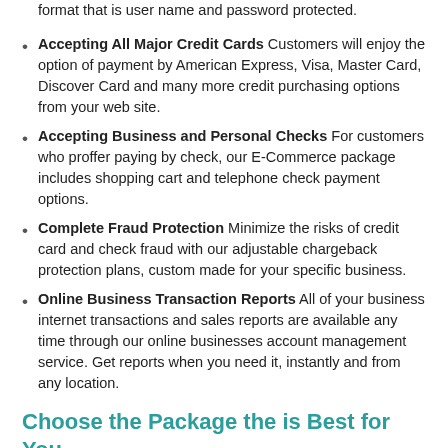format that is user name and password protected.
Accepting All Major Credit Cards Customers will enjoy the option of payment by American Express, Visa, Master Card, Discover Card and many more credit purchasing options from your web site.
Accepting Business and Personal Checks For customers who proffer paying by check, our E-Commerce package includes shopping cart and telephone check payment options.
Complete Fraud Protection Minimize the risks of credit card and check fraud with our adjustable chargeback protection plans, custom made for your specific business.
Online Business Transaction Reports All of your business internet transactions and sales reports are available any time through our online businesses account management service. Get reports when you need it, instantly and from any location.
Choose the Package the is Best for You
Now you know just a few of the E-Commerce online transaction services that are available to you with Credit Card Processing Service Providers around Stoddard, New Hampshire. Apply today and find out more information about all of the merchant account